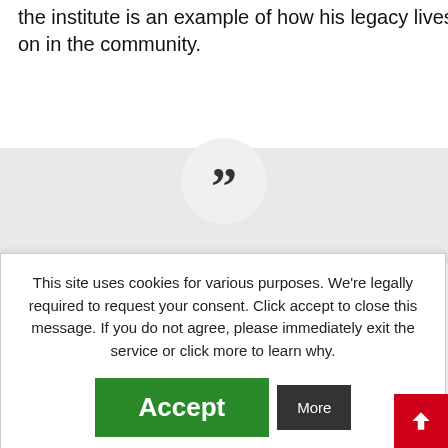the institute is an example of how his legacy lives on in the community.
[Figure (illustration): Large grey quotation mark circle on a light grey background band, representing a pull-quote section.]
"On behalf of my family, I would like to express [gratitude] ... g and Dean ... and his ... ith the ... ré Institute ... education ... s interests, I ... and most ... served in a ... several ... e University ...
This site uses cookies for various purposes. We're legally required to request your consent. Click accept to close this message. If you do not agree, please immediately exit the service or click more to learn why.
Accept
More
of Puerto Rico, Carlos Albizu University, Barry